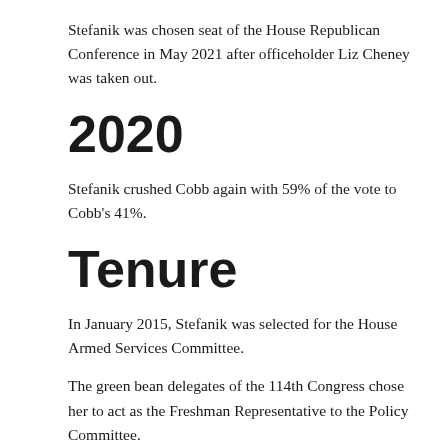Stefanik was chosen seat of the House Republican Conference in May 2021 after officeholder Liz Cheney was taken out.
2020
Stefanik crushed Cobb again with 59% of the vote to Cobb's 41%.
Tenure
In January 2015, Stefanik was selected for the House Armed Services Committee.
The green bean delegates of the 114th Congress chose her to act as the Freshman Representative to the Policy Committee.
In February 2015, she has delegated the bad habit seat on the House Armed Services Committee's Subcommittee on Readiness.